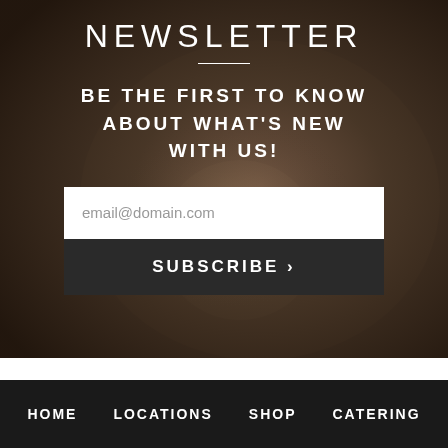NEWSLETTER
BE THE FIRST TO KNOW ABOUT WHAT'S NEW WITH US!
[Figure (other): Newsletter signup form with email input field showing placeholder 'email@domain.com' and a dark Subscribe button with chevron]
HOME   LOCATIONS   SHOP   CATERING